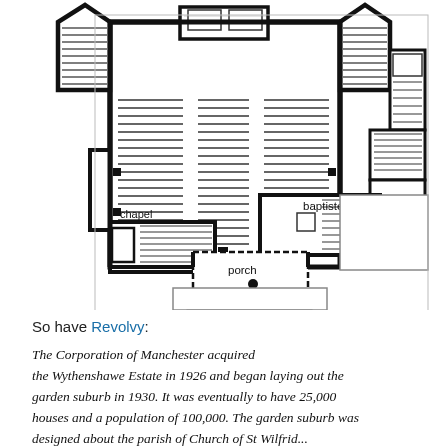[Figure (schematic): Architectural floor plan of a church showing nave with pews, side aisles, chapel on lower left, baptistery on lower right, porch in the center bottom, and angled corner elements.]
So have Revolvy:
The Corporation of Manchester acquired the Wythenshawe Estate in 1926 and began laying out the garden suburb in 1930. It was eventually to have 25,000 houses and a population of 100,000. The garden suburb was designed about the parish of Church of St Wilfrid...